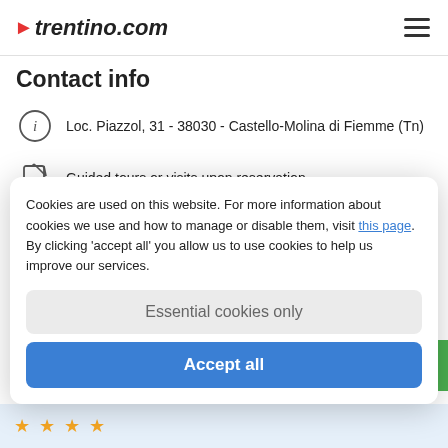trentino.com
Contact info
Loc. Piazzol, 31 - 38030 - Castello-Molina di Fiemme (Tn)
Guided tours or visits upon reservation.
+39 327 3195985
info@adventuredolomiti.it
Cookies are used on this website. For more information about cookies we use and how to manage or disable them, visit this page. By clicking 'accept all' you allow us to use cookies to help us improve our services.
Essential cookies only
Accept all